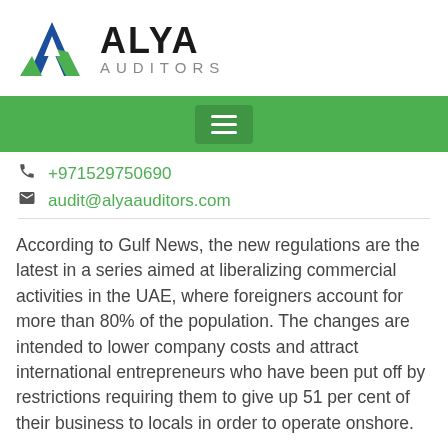[Figure (logo): Alya Auditors logo with triangular A icon in blue and green, and text ALYA AUDITORS]
ALYA AUDITORS
+971529750690
audit@alyaauditors.com
According to Gulf News, the new regulations are the latest in a series aimed at liberalizing commercial activities in the UAE, where foreigners account for more than 80% of the population. The changes are intended to lower company costs and attract international entrepreneurs who have been put off by restrictions requiring them to give up 51 per cent of their business to locals in order to operate onshore.
Local governments can set specific goals for Emiratis in capital allocation and company boards of directors. Except for joint-stock firms, they can also authorize proposals to